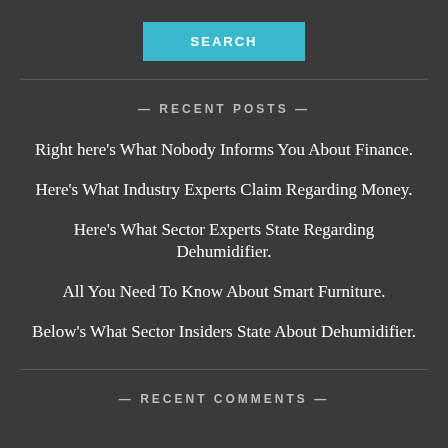SEARCH
— RECENT POSTS —
Right here's What Nobody Informs You About Finance.
Here's What Industry Experts Claim Regarding Money.
Here's What Sector Experts State Regarding Dehumidifier.
All You Need To Know About Smart Furniture.
Below's What Sector Insiders State About Dehumidifier.
— RECENT COMMENTS —